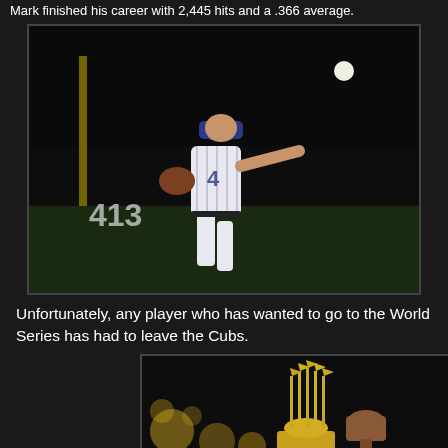Mark finished his career with 2,445 hits and a .366 average.
[Figure (photo): Baseball player in Arizona Diamondbacks pinstripe uniform (#4) fielding and throwing a ball, with '413' visible on outfield wall in background]
Unfortunately, any player who has wanted to go to the World Series has had to leave the Cubs.
[Figure (photo): World Series trophy (Commissioner's Trophy) held up by a fist/hand against a dark background]